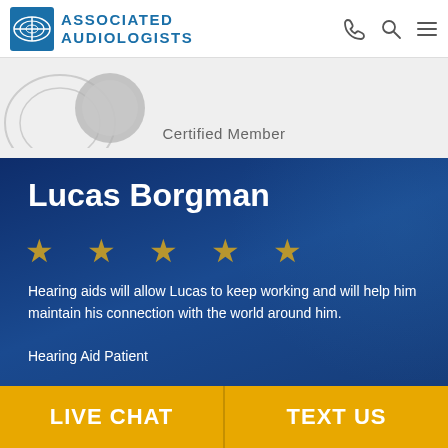Associated Audiologists
Certified Member
Lucas Borgman
[Figure (infographic): Five gold stars rating]
Hearing aids will allow Lucas to keep working and will help him maintain his connection with the world around him.
Hearing Aid Patient
LIVE CHAT | TEXT US